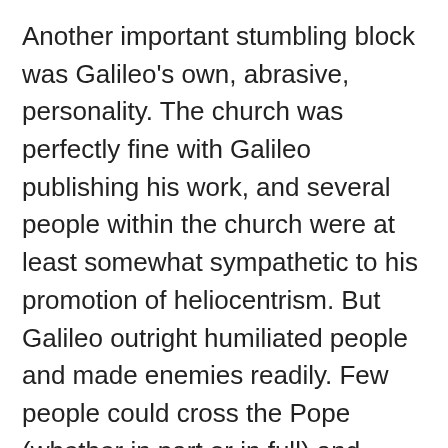Another important stumbling block was Galileo's own, abrasive, personality. The church was perfectly fine with Galileo publishing his work, and several people within the church were at least somewhat sympathetic to his promotion of heliocentrism. But Galileo outright humiliated people and made enemies readily. Few people could cross the Pope (whether in part or in full) and expect to emerge victorious. Galileo was fortunate that in his aging years his sentence (for ostensibly breaking an agreement with the Pope) was merely house arrest.
Then there was the science, which by no means unambiguously supported Copernicus' heliocentrism with its circular orbits and epicycles. Brahe's and Ptolemy's models were by no means obviously